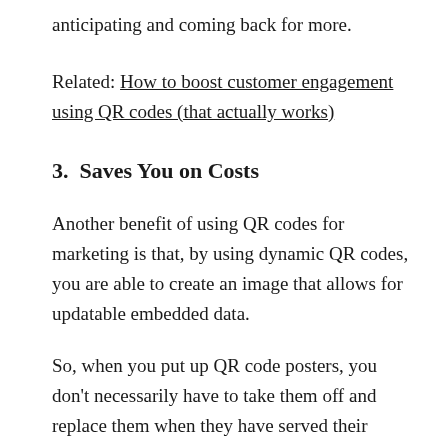anticipating and coming back for more.
Related: How to boost customer engagement using QR codes (that actually works)
3.  Saves You on Costs
Another benefit of using QR codes for marketing is that, by using dynamic QR codes, you are able to create an image that allows for updatable embedded data.
So, when you put up QR code posters, you don’t necessarily have to take them off and replace them when they have served their purpose.